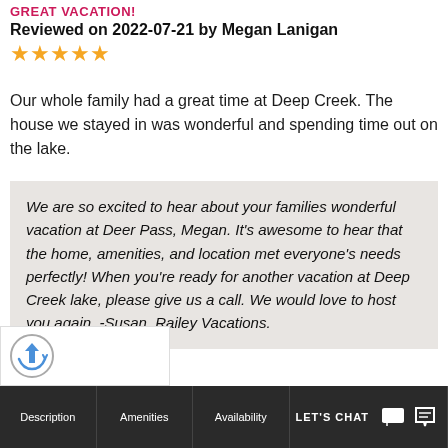GREAT VACATION!
Reviewed on 2022-07-21 by Megan Lanigan
★★★★★
Our whole family had a great time at Deep Creek. The house we stayed in was wonderful and spending time out on the lake.
We are so excited to hear about your families wonderful vacation at Deer Pass, Megan. It's awesome to hear that the home, amenities, and location met everyone's needs perfectly! When you're ready for another vacation at Deep Creek lake, please give us a call. We would love to host you again. -Susan, Railey Vacations.
Description | Amenities | Availability | LET'S CHAT